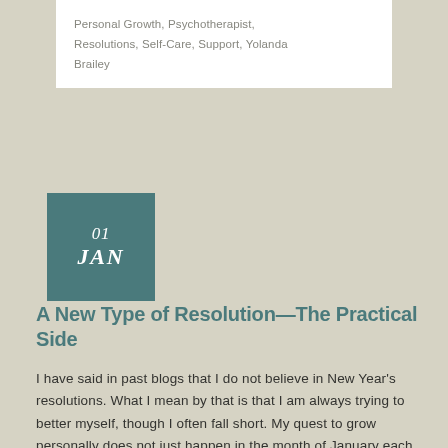Personal Growth, Psychotherapist, Resolutions, Self-Care, Support, Yolanda Brailey
[Figure (other): Date block with teal/dark cyan background showing '01 JAN']
A New Type of Resolution—The Practical Side
I have said in past blogs that I do not believe in New Year's resolutions. What I mean by that is that I am always trying to better myself, though I often fall short. My quest to grow personally does not just happen in the month of January each year. My journey of personal growth [...]